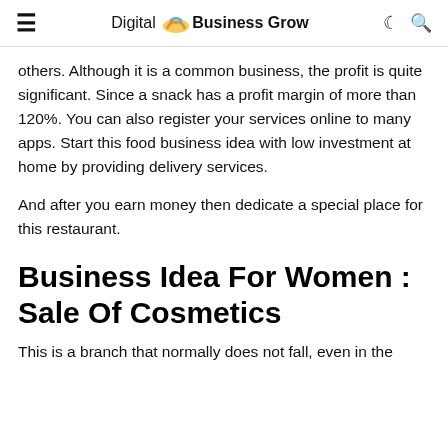≡  Digital Business Grow  ☾ 🔍
others. Although it is a common business, the profit is quite significant. Since a snack has a profit margin of more than 120%. You can also register your services online to many apps. Start this food business idea with low investment at home by providing delivery services.
And after you earn money then dedicate a special place for this restaurant.
Business Idea For Women : Sale Of Cosmetics
This is a branch that normally does not fall, even in the